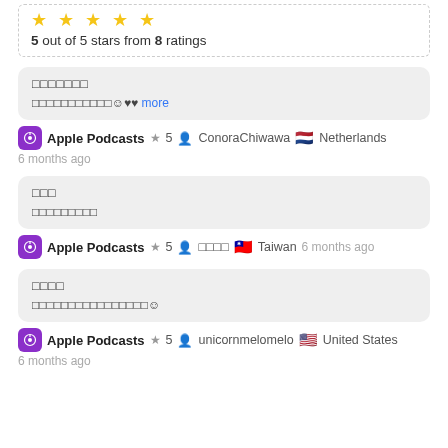5 out of 5 stars from 8 ratings
□□□□□□□
□□□□□□□□□□□☺♥♥ more
Apple Podcasts ★ 5 ConoraChiwawa 🇳🇱 Netherlands 6 months ago
□□□
□□□□□□□□□
Apple Podcasts ★ 5 □□□□ 🇹🇼 Taiwan 6 months ago
□□□□
□□□□□□□□□□□□□□□□☺
Apple Podcasts ★ 5 unicornmelomelo 🇺🇸 United States 6 months ago